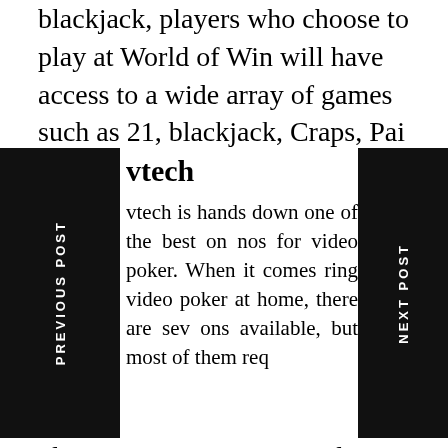blackjack, players who choose to play at World of Win will have access to a wide array of games such as 21, blackjack, Craps, Pai Gow and many more.
vtech
vtech is hands down one of the best on nos for video poker. When it comes ring video poker at home, there are sev ons available, but most of them req players to visit casinos to deposit funds and create winning poker hands. What's more, many of these casinos do not offer the best video poker offers in town, making it difficult
PREVIOUS POST
NEXT POST